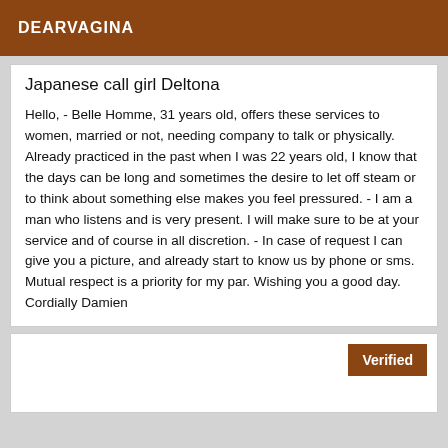DEARVAGINA
Japanese call girl Deltona
Hello, - Belle Homme, 31 years old, offers these services to women, married or not, needing company to talk or physically. Already practiced in the past when I was 22 years old, I know that the days can be long and sometimes the desire to let off steam or to think about something else makes you feel pressured. - I am a man who listens and is very present. I will make sure to be at your service and of course in all discretion. - In case of request I can give you a picture, and already start to know us by phone or sms. Mutual respect is a priority for my par. Wishing you a good day. Cordially Damien
Verified